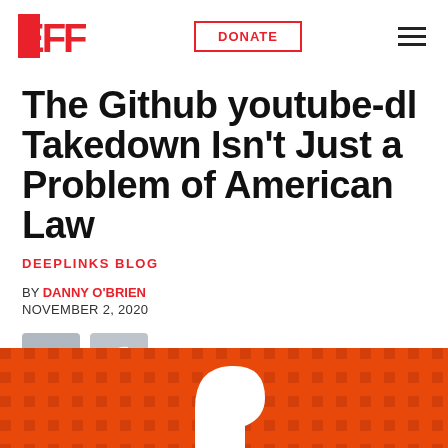EFF | DONATE
The Github youtube-dl Takedown Isn't Just a Problem of American Law
DEEPLINKS BLOG
BY DANNY O'BRIEN
NOVEMBER 2, 2020
[Figure (illustration): Twitter and Facebook social share icons]
[Figure (illustration): Orange decorative banner with EFF logo mark at bottom of page]